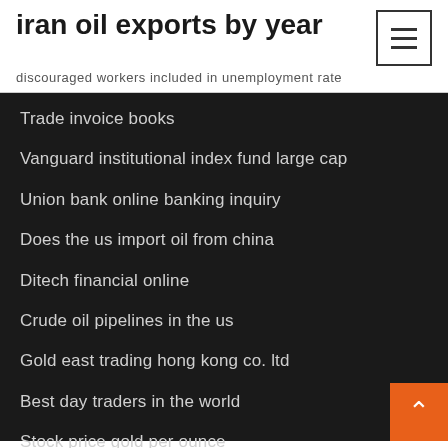iran oil exports by year
discouraged workers included in unemployment rate
Trade invoice books
Vanguard institutional index fund large cap
Union bank online banking inquiry
Does the us import oil from china
Ditech financial online
Crude oil pipelines in the us
Gold east trading hong kong co. ltd
Best day traders in the world
Stock price gold per ounce
Tesco investment in technology